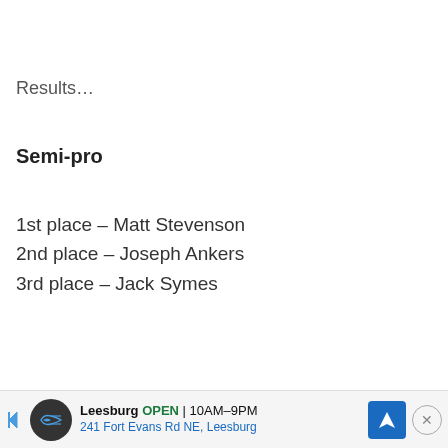Results…
Semi-pro
1st place – Matt Stevenson
2nd place – Joseph Ankers
3rd place – Jack Symes
Leesburg OPEN 10AM–9PM 241 Fort Evans Rd NE, Leesburg